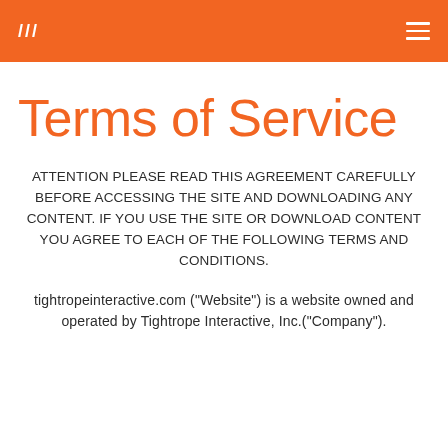/// ≡
Terms of Service
ATTENTION PLEASE READ THIS AGREEMENT CAREFULLY BEFORE ACCESSING THE SITE AND DOWNLOADING ANY CONTENT. IF YOU USE THE SITE OR DOWNLOAD CONTENT YOU AGREE TO EACH OF THE FOLLOWING TERMS AND CONDITIONS.
tightropeinteractive.com ("Website") is a website owned and operated by Tightrope Interactive, Inc.("Company").